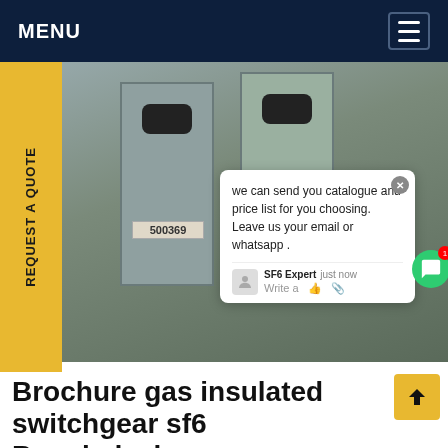MENU
[Figure (photo): Industrial SF6 gas insulated switchgear cabinets in a factory/substation. Workers in blue overalls visible. Cabinets labeled 500369 and 500367. Cables on floor. Worker in blue hard hat visible in background. Chat popup overlay visible with message about sending catalogue and price list. SF6China watermark in orange.]
Brochure gas insulated switchgear sf6 Bangladesh